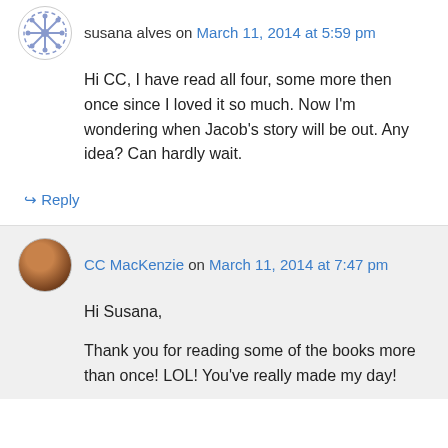susana alves on March 11, 2014 at 5:59 pm
Hi CC, I have read all four, some more then once since I loved it so much. Now I'm wondering when Jacob's story will be out. Any idea? Can hardly wait.
↳ Reply
CC MacKenzie on March 11, 2014 at 7:47 pm
Hi Susana,

Thank you for reading some of the books more than once! LOL! You've really made my day!